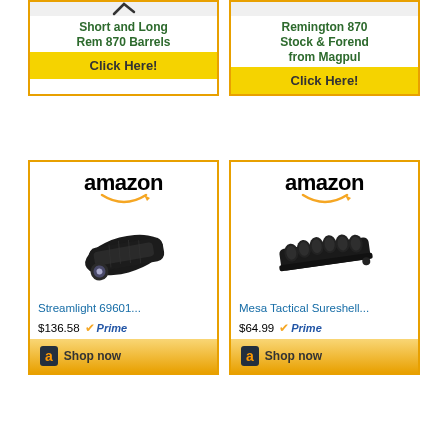[Figure (infographic): Advertisement for Short and Long Rem 870 Barrels with yellow Click Here button]
[Figure (infographic): Advertisement for Remington 870 Stock & Forend from Magpul with yellow Click Here button]
[Figure (infographic): Amazon product ad for Streamlight 69601 at $136.58 Prime with Shop now button]
[Figure (infographic): Amazon product ad for Mesa Tactical Sureshell at $64.99 Prime with Shop now button]